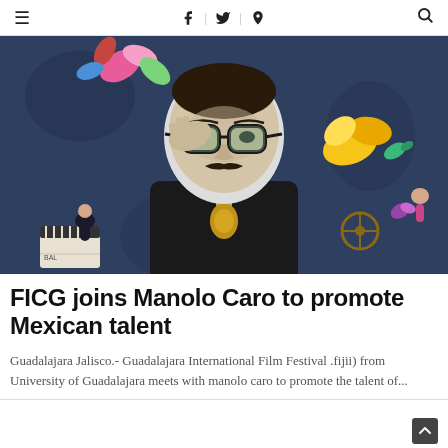≡  f | t | pinterest  🔍
[Figure (photo): Promotional photo of Manolo Caro, a man with glasses and mustache in a suit, surrounded by colorful illustrated characters, birds, flowers, and film clapperboards on a dark blue background.]
FICG joins Manolo Caro to promote Mexican talent
Guadalajara Jalisco.- Guadalajara International Film Festival .fijii) from University of Guadalajara meets with manolo caro to promote the talent of...